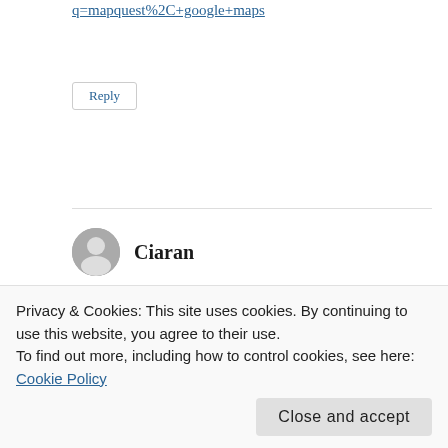q=mapquest%2C+google+maps
Reply
Ciaran
May 18, 2008 at 5:18 am
I knew as soon as I posted that comment that I
Privacy & Cookies: This site uses cookies. By continuing to use this website, you agree to their use.
To find out more, including how to control cookies, see here: Cookie Policy
Close and accept
* Provide an existing service, but in a far superior